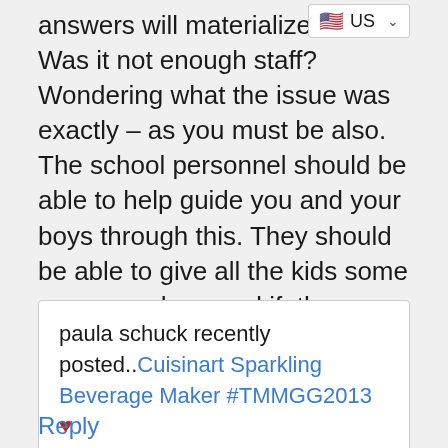[Figure (screenshot): US flag dropdown selector in top right corner]
answers will materialize kids? Was it not enough staff? Wondering what the issue was exactly – as you must be also. The school personnel should be able to help guide you and your boys through this. They should be able to give all the kids some answers when, and if, they return. They will obviously need to address the change of teacher. Kids do really bond with their teachers, especially when they are kind, caring, professionals.
paula schuck recently posted..Cuisinart Sparkling Beverage Maker #TMMGG2013 [heart emoji]
Reply